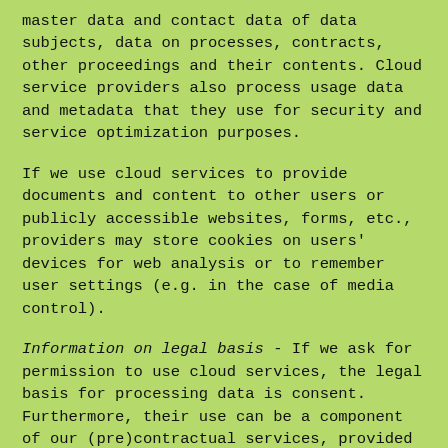master data and contact data of data subjects, data on processes, contracts, other proceedings and their contents. Cloud service providers also process usage data and metadata that they use for security and service optimization purposes.
If we use cloud services to provide documents and content to other users or publicly accessible websites, forms, etc., providers may store cookies on users' devices for web analysis or to remember user settings (e.g. in the case of media control).
Information on legal basis - If we ask for permission to use cloud services, the legal basis for processing data is consent. Furthermore, their use can be a component of our (pre)contractual services, provided that the use of cloud services has been agreed in this context. Otherwise, user data will be processed on the basis of our legitimate interests (i.e. interest in efficient and secure administrative and collaboration processes).
Processed data types: Inventory data (e.g. names, addresses), Contact data (e.g. e-mail, telephone numbers), Content data (e.g. text